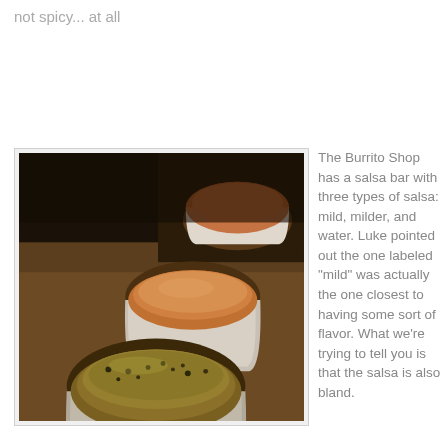not spicy... at all
[Figure (photo): Three small cups of salsa on a wooden table. The foreground cup contains green/herb salsa, the middle cup has orange salsa, and a third cup with orange-red salsa is partially visible in the background. The image has shallow depth of field with bokeh background.]
The Burrito Shop has a salsa bar with three types of salsa: mild, milder, and water. Luke pointed out the one labeled "mild" was actually the one closest to having some sort of flavor. What we’re trying to tell you is that the salsa is also bland.